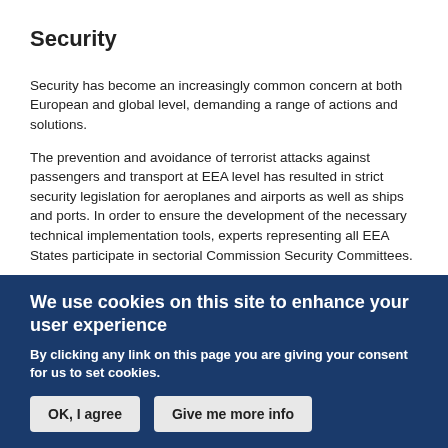Security
Security has become an increasingly common concern at both European and global level, demanding a range of actions and solutions.
The prevention and avoidance of terrorist attacks against passengers and transport at EEA level has resulted in strict security legislation for aeroplanes and airports as well as ships and ports. In order to ensure the development of the necessary technical implementation tools, experts representing all EEA States participate in sectorial Commission Security Committees.
Specific provisions covering all modes of transport can be found in Annex XIII (parts 1, 2 and 3) of the EEA Agreement.
We use cookies on this site to enhance your user experience
By clicking any link on this page you are giving your consent for us to set cookies.
OK, I agree
Give me more info